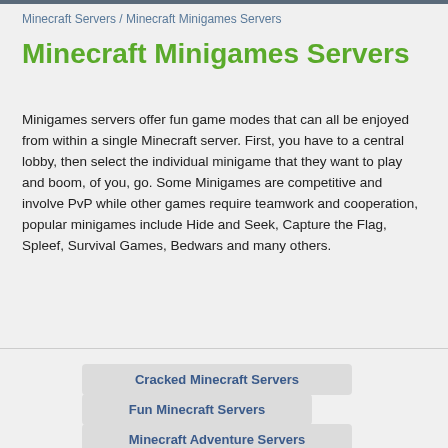Minecraft Servers / Minecraft Minigames Servers
Minecraft Minigames Servers
Minigames servers offer fun game modes that can all be enjoyed from within a single Minecraft server. First, you have to a central lobby, then select the individual minigame that they want to play and boom, of you, go. Some Minigames are competitive and involve PvP while other games require teamwork and cooperation, popular minigames include Hide and Seek, Capture the Flag, Spleef, Survival Games, Bedwars and many others.
Cracked Minecraft Servers
Fun Minecraft Servers
Minecraft Adventure Servers